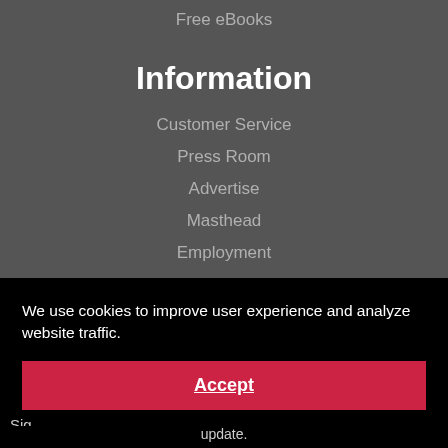Free eBooks
Information
Customer Service
Press Room
Advertise
Masthead
Employment
Terms of Use
We use cookies to improve user experience and analyze website traffic.
Accept
Sig
update.